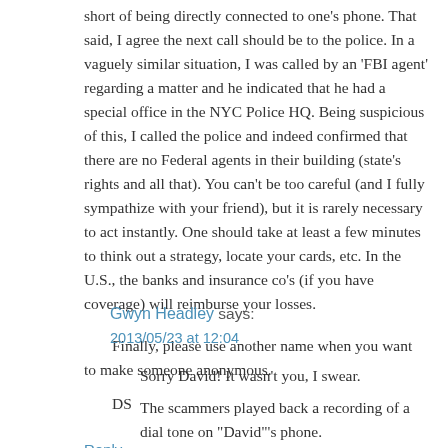short of being directly connected to one's phone. That said, I agree the next call should be to the police. In a vaguely similar situation, I was called by an 'FBI agent' regarding a matter and he indicated that he had a special office in the NYC Police HQ. Being suspicious of this, I called the police and indeed confirmed that there are no Federal agents in their building (state's rights and all that). You can't be too careful (and I fully sympathize with your friend), but it is rarely necessary to act instantly. One should take at least a few minutes to think out a strategy, locate your cards, etc. In the U.S., the banks and insurance co's (if you have coverage) will reimburse your losses.
Finally, please use another name when you want to make someone anonymous.
DS
Reply
Gwyn Headley says:
2013/05/23 at 12:04
Sorry David! It wasn't you, I swear.
The scammers played back a recording of a dial tone on "David"'s phone...